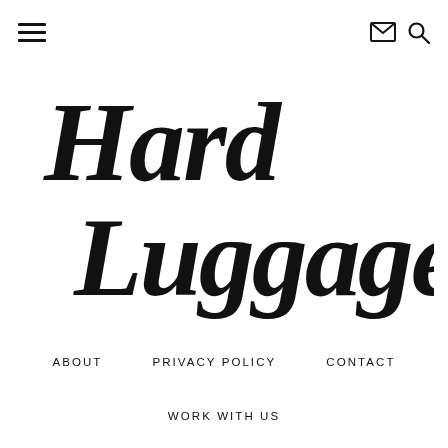≡ [menu icon] [envelope icon] [search icon]
[Figure (logo): Hand-lettered cursive logo reading 'Hard Luggage Only' in black brush script on white background]
ABOUT
PRIVACY POLICY
CONTACT
WORK WITH US